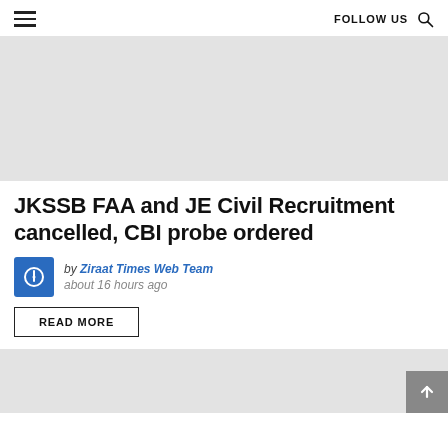FOLLOW US
[Figure (photo): Hero image placeholder (light gray rectangle)]
JKSSB FAA and JE Civil Recruitment cancelled, CBI probe ordered
by Ziraat Times Web Team
about 16 hours ago
READ MORE
[Figure (photo): Second image placeholder (light gray rectangle)]